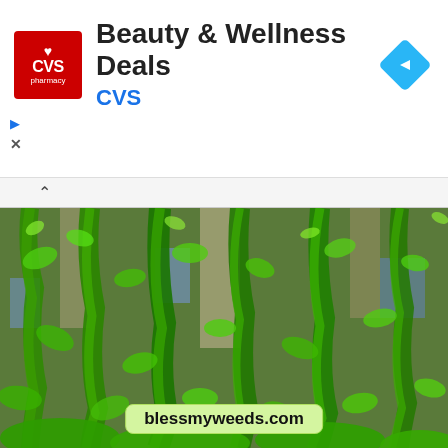[Figure (screenshot): CVS Pharmacy Beauty & Wellness Deals advertisement banner with CVS logo on left, title text in center, and blue navigation arrow icon on right. Small play and close buttons on lower left of banner.]
[Figure (photo): Photograph of lush green ivy or climbing vines cascading down the exterior wall of a building with windows visible through the dense foliage. A watermark label reading 'blessmyweeds.com' appears at the bottom center of the image.]